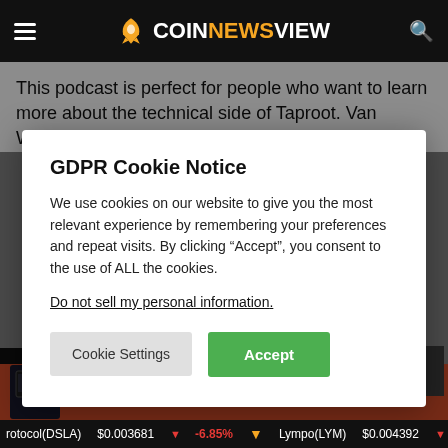COINNEWSVIEW
This podcast is perfect for people who want to learn more about the technical side of Taproot. Van Wirdum and
GDPR Cookie Notice
We use cookies on our website to give you the most relevant experience by remembering your preferences and repeat visits. By clicking “Accept”, you consent to the use of ALL the cookies.
Do not sell my personal information.
Cookie Settings  Accept
READ MORE
Swap your tokens securely
rotocol(DSLA) $0.003681 ↓ -6.85%   Lympo(LYM) $0.004392 ↓ -4.4